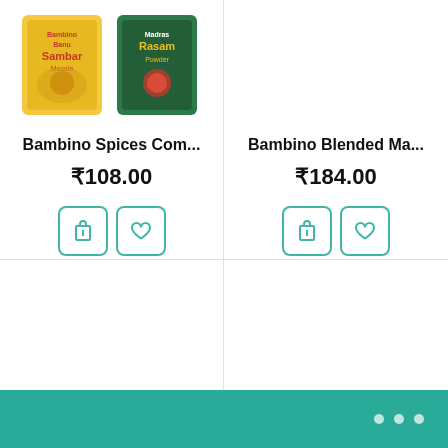[Figure (photo): Product image showing Bambino Sambar Powder and Madras Rasam Powder cans]
Bambino Spices Com...
₹108.00
Bambino Blended Ma...
₹184.00
○○○